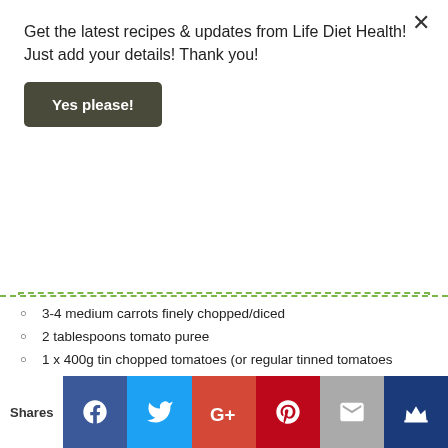Get the latest recipes & updates from Life Diet Health! Just add your details! Thank you!
Yes please!
3-4 medium carrots finely chopped/diced
2 tablespoons tomato puree
1 x 400g tin chopped tomatoes (or regular tinned tomatoes chopped)
2 litres water or stock (that's 5 empty tomato tins full) (boiling water preferred)
4-5 small bay leaves
1/2 tablespoon dried oregano
1 x 400g tin white beans (canellini)
100 g small pasta shapes (or chopped spaghetti)
small handful spring greens/green cabbage
black pepper
Privacy & Cookies: This site uses cookies. By continuing to use this website, you agree to their use.
To find out more, including how to control cookies, see here: Cookie Policy